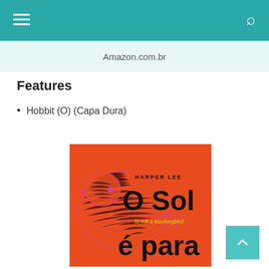Amazon.com.br
Features
Hobbit (O) (Capa Dura)
[Figure (photo): Book cover of 'O Sol é para' (To Kill a Mockingbird) by Harper Lee. Orange background with a stylized pink/magenta bird illustration. Title text reads 'O Sol' and 'é para' in large black letters, with 'HARPER LEE' in small caps and 'To Kill a Mockingbird' in smaller yellow text.]